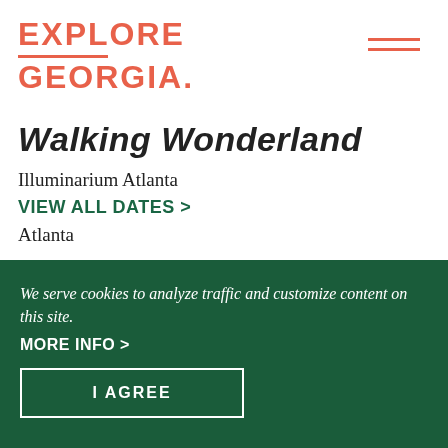EXPLORE GEORGIA
Walking Wonderland
Illuminarium Atlanta
VIEW ALL DATES >
Atlanta
[Figure (map): Small outline map of Georgia with Atlanta region highlighted in salmon/red color]
We serve cookies to analyze traffic and customize content on this site.
MORE INFO >
I AGREE